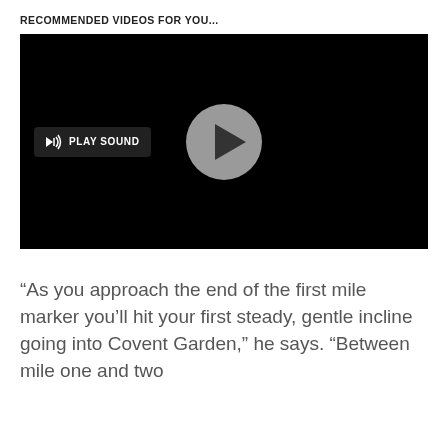RECOMMENDED VIDEOS FOR YOU...
[Figure (screenshot): Black video player with a gray circular play button in the center and a dark 'PLAY SOUND' button with speaker icon on the left side.]
“As you approach the end of the first mile marker you’ll hit your first steady, gentle incline going into Covent Garden,” he says. “Between mile one and two